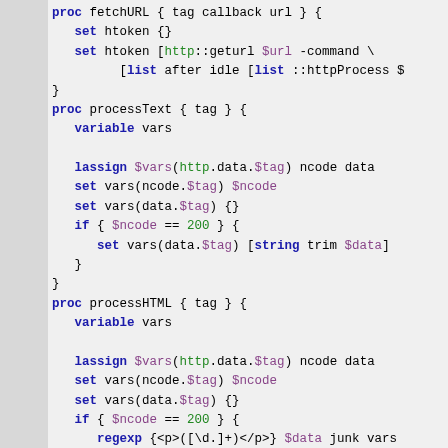[Figure (screenshot): Tcl programming language code snippet showing proc definitions: fetchURL, processText, processHTML, processFinal with syntax highlighting (keywords in blue/bold, variables in green/purple, strings in red)]